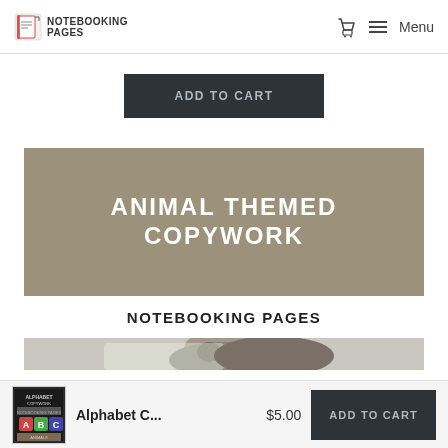NOTEBOOKING PAGES — Menu
ADD TO CART
[Figure (illustration): Animal Themed Copywork product cover image with tan/brown background showing title 'ANIMAL THEMED COPYWORK' in bold white text, 'NOTEBOOKING PAGES' in black text on white band, and a monkey/ape photo at the bottom]
Alphabet C... $5.00 ADD TO CART